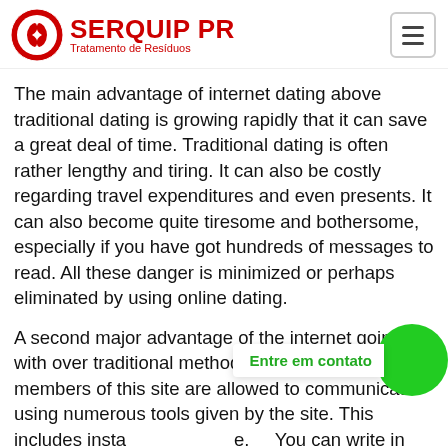SERQUIP PR Tratamento de Resíduos
The main advantage of internet dating above traditional dating is growing rapidly that it can save a great deal of time. Traditional dating is often rather lengthy and tiring. It can also be costly regarding travel expenditures and even presents. It can also become quite tiresome and bothersome, especially if you have got hundreds of messages to read. All these danger is minimized or perhaps eliminated by using online dating.
A second major advantage of the internet going out with over traditional methods would be that the members of this site are allowed to communicate using numerous tools given by the site. This includes insta e. You can write in blogs too, and you can talk in real-time voice and text message protocols offered. You also have the
[Figure (other): Green circular contact button with 'Entre em contato' label overlay at bottom right]